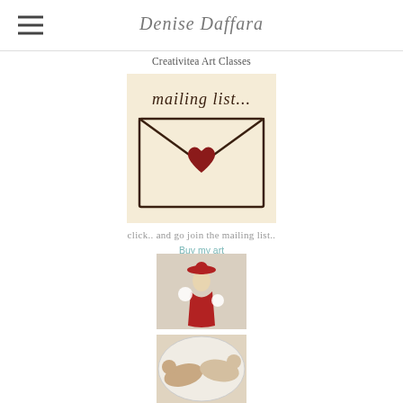Denise Daffara
Creativitea Art Classes
[Figure (illustration): Hand-drawn illustration of a mailing envelope with 'mailing list...' written above it and a heart shape on the envelope flap, on a warm cream background]
click.. and go join the mailing list..
Buy my art
[Figure (illustration): Painting of a woman in a red dress and red hat holding flowers, viewed from behind]
[Figure (illustration): Painting of two figures reclining, partially visible at bottom of page]